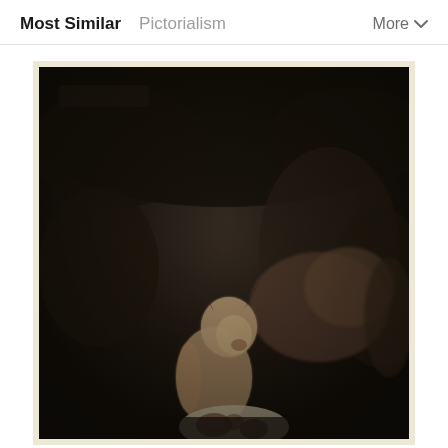Most Similar   Pictorialism   More
[Figure (photo): A sepia-toned Pictorialist photograph showing a young shirtless child kneeling in a natural outdoor setting, possibly interacting with animals or plants. A large animal (possibly a cow or goat) is visible in the background right. The image has the soft, painterly quality characteristic of Pictorialist photography, with dark, atmospheric tones.]